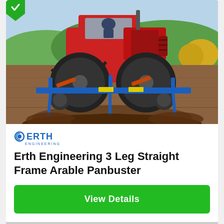[Figure (photo): Red tractor with blue Erth Engineering 3 Leg Straight Frame Arable Panbuster attachment working in a field, tilling soil, with green countryside in background]
[Figure (logo): Erth Engineering logo — circular 'e' icon in blue followed by ERTH in bold blue letters and ENGINEERING in smaller blue letters below]
Erth Engineering 3 Leg Straight Frame Arable Panbuster
View Details